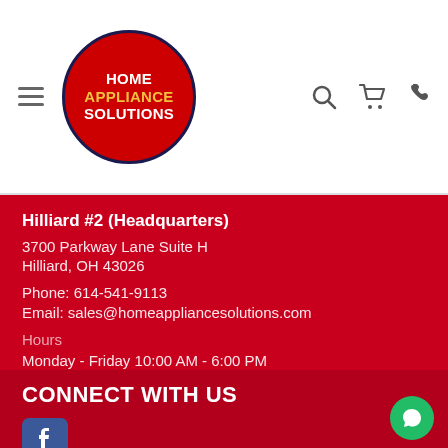[Figure (logo): Home Appliance Solutions logo: red circle with dark blue border, white bold text reading HOME APPLIANCE SOLUTIONS with APPLIANCE in yellow]
Hilliard #2 (Headquarters)
3700 Parkway Lane Suite H
Hilliard, OH 43026
Phone: 614-541-9113
Email: sales@homeappliancesolutions.com
Hours
Monday - Friday 10:00 AM - 6:00 PM
Saturday - Sunday 11:00 PM - 4:00 PM
CONNECT WITH US
[Figure (logo): Facebook logo icon: blue square with white 'f' letter]